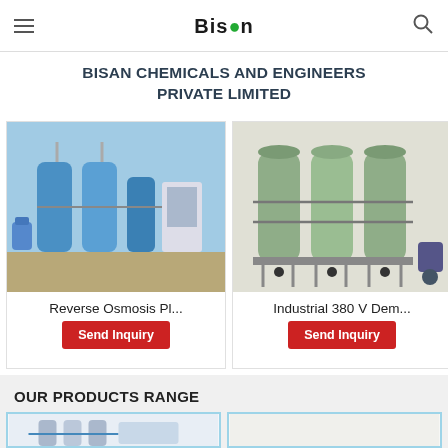Bisan Chemicals and Engineers Private Limited — navigation bar with hamburger menu and search icon
BISAN CHEMICALS AND ENGINEERS PRIVATE LIMITED
[Figure (photo): Reverse Osmosis Plant industrial water treatment equipment with blue tanks and piping]
Reverse Osmosis Pl...
Send Inquiry
[Figure (photo): Industrial 380 V Demineralisation plant with green pressure vessels on metal frame]
Industrial 380 V Dem...
Send Inquiry
[Figure (photo): Partially visible third product card]
OUR PRODUCTS RANGE
[Figure (photo): Water treatment plant with metal tanks and blue piping — product range card bottom left]
[Figure (photo): Partially visible water treatment product — product range card bottom right]